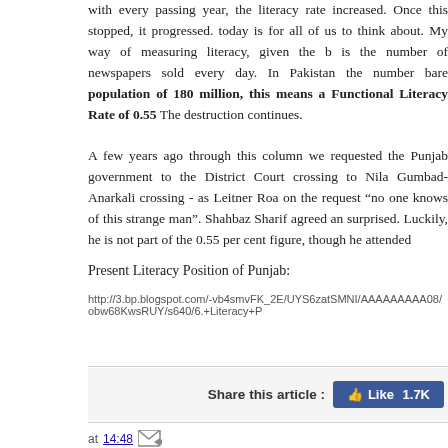with every passing year, the literacy rate increased. Once this stopped, it progressed. Today is for all of us to think about. My way of measuring literacy, given the best measure, is the number of newspapers sold every day. In Pakistan the number barely touches population of 180 million, this means a Functional Literacy Rate of 0.55 per cent. The destruction continues.
A few years ago through this column we requested the Punjab government to name the District Court crossing to Nila Gumbad-Anarkali crossing - as Leitner Road. On the request "no one knows of this strange man". Shahbaz Sharif agreed and was surprised. Luckily, he is not part of the 0.55 per cent figure, though he attended
Present Literacy Position of Punjab:
http://3.bp.blogspot.com/-vb4smvFK_2E/UYS6zatSMNI/AAAAAAAAA08/obw68KwsRUY/s640/6.+Literacy+P
Share this article :
at 14:48